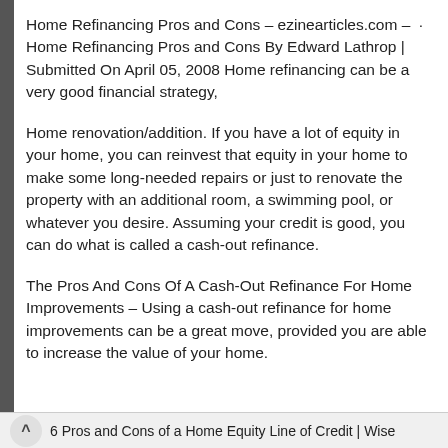Home Refinancing Pros and Cons – ezinearticles.com –  · Home Refinancing Pros and Cons By Edward Lathrop | Submitted On April 05, 2008 Home refinancing can be a very good financial strategy,
Home renovation/addition. If you have a lot of equity in your home, you can reinvest that equity in your home to make some long-needed repairs or just to renovate the property with an additional room, a swimming pool, or whatever you desire. Assuming your credit is good, you can do what is called a cash-out refinance.
The Pros And Cons Of A Cash-Out Refinance For Home Improvements – Using a cash-out refinance for home improvements can be a great move, provided you are able to increase the value of your home.
6 Pros and Cons of a Home Equity Line of Credit | Wise